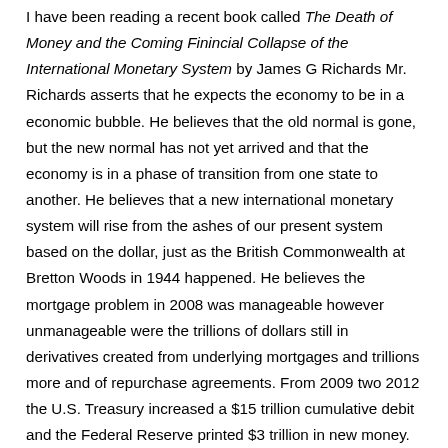I have been reading a recent book called The Death of Money and the Coming Finincial Collapse of the International Monetary System by James G Richards Mr. Richards asserts that he expects the economy to be in a economic bubble. He believes that the old normal is gone, but the new normal has not yet arrived and that the economy is in a phase of transition from one state to another. He believes that a new international monetary system will rise from the ashes of our present system based on the dollar, just as the British Commonwealth at Bretton Woods in 1944 happened. He believes the mortgage problem in 2008 was manageable however unmanageable were the trillions of dollars still in derivatives created from underlying mortgages and trillions more and of repurchase agreements. From 2009 two 2012 the U.S. Treasury increased a $15 trillion cumulative debit and the Federal Reserve printed $3 trillion in new money. The bankers jobs and bonuses were preserved but nothing was achieved for the average